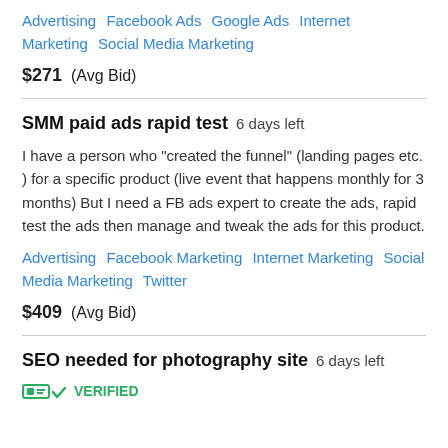Advertising  Facebook Ads  Google Ads  Internet Marketing  Social Media Marketing
$271  (Avg Bid)
SMM paid ads rapid test  6 days left
I have a person who "created the funnel" (landing pages etc. ) for a specific product (live event that happens monthly for 3 months) But I need a FB ads expert to create the ads, rapid test the ads then manage and tweak the ads for this product.
Advertising  Facebook Marketing  Internet Marketing  Social Media Marketing  Twitter
$409  (Avg Bid)
SEO needed for photography site  6 days left
VERIFIED